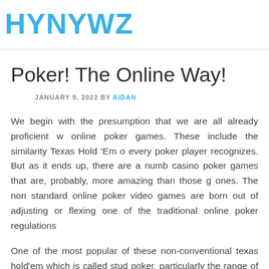HYNYWZ
Poker! The Online Way!
JANUARY 9, 2022 BY AIDAN
We begin with the presumption that we are all already proficient w online poker games. These include the similarity Texas Hold 'Em o every poker player recognizes. But as it ends up, there are a numb casino poker games that are, probably, more amazing than those g ones. The non standard online poker video games are born out of adjusting or flexing one of the traditional online poker regulations
One of the most popular of these non-conventional texas hold'em which is called stud poker, particularly the range of it that is called